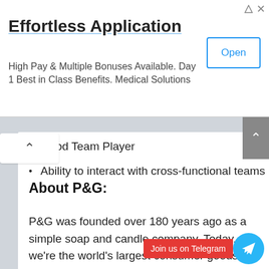[Figure (screenshot): Ad banner: Effortless Application with Open button]
Good Team Player
Ability to interact with cross-functional teams
About P&G:
P&G was founded over 180 years ago as a simple soap and candle company. Today, we're the world's largest consumer goods company and home to iconic trusted brands that make life a little bit easier in small but meaningful ways. We've spanned three centuries thanks to three simple ideas: leadership, innovation, and citizenship.